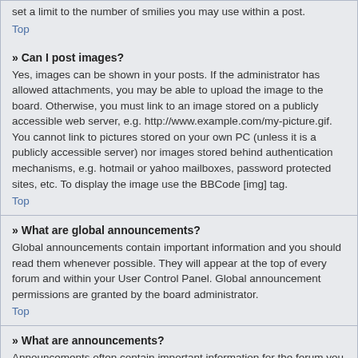set a limit to the number of smilies you may use within a post.
Top
» Can I post images?
Yes, images can be shown in your posts. If the administrator has allowed attachments, you may be able to upload the image to the board. Otherwise, you must link to an image stored on a publicly accessible web server, e.g. http://www.example.com/my-picture.gif. You cannot link to pictures stored on your own PC (unless it is a publicly accessible server) nor images stored behind authentication mechanisms, e.g. hotmail or yahoo mailboxes, password protected sites, etc. To display the image use the BBCode [img] tag.
Top
» What are global announcements?
Global announcements contain important information and you should read them whenever possible. They will appear at the top of every forum and within your User Control Panel. Global announcement permissions are granted by the board administrator.
Top
» What are announcements?
Announcements often contain important information for the forum you are currently reading and you should read them whenever possible. Announcements appear at the top of every page in the forum to which they are posted. As with global announcements, announcement permissions are granted by the board administrator.